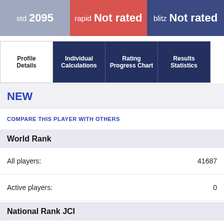[Figure (infographic): Rating bar showing: std 2095, rapid Not rated, blitz Not rated]
[Figure (infographic): Navigation tabs: Profile Details (active), Individual Calculations, Rating Progress Chart, Results Statistics]
NEW
COMPARE THIS PLAYER WITH OTHERS
World Rank
All players: 41687
Active players: 0
National Rank JCI